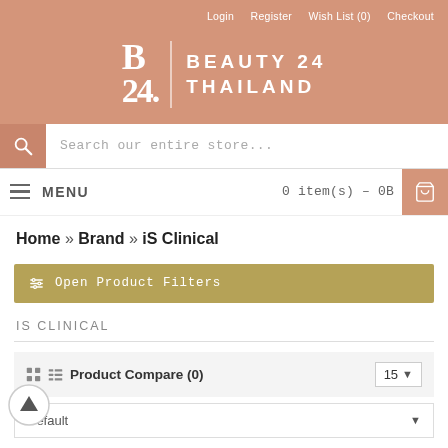Login  Register  Wish List (0)  Checkout
[Figure (logo): Beauty 24 Thailand logo with stylized B24 numeral and text on salmon/rose pink background]
Search our entire store...
MENU   0 item(s) – 0B
Home » Brand » iS Clinical
Open Product Filters
IS CLINICAL
Product Compare (0)   15   Default